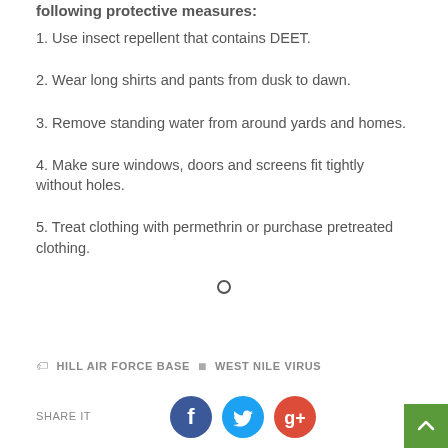following protective measures:
1. Use insect repellent that contains DEET.
2. Wear long shirts and pants from dusk to dawn.
3. Remove standing water from around yards and homes.
4. Make sure windows, doors and screens fit tightly without holes.
5. Treat clothing with permethrin or purchase pretreated clothing.
[Figure (other): Small open circle divider symbol]
HILL AIR FORCE BASE ▪ WEST NILE VIRUS
SHARE IT
[Figure (other): Social share icons: Facebook (dark blue circle), Twitter (light blue circle), Google+ (red circle)]
[Figure (other): Back to top button — green square with upward chevron arrow]